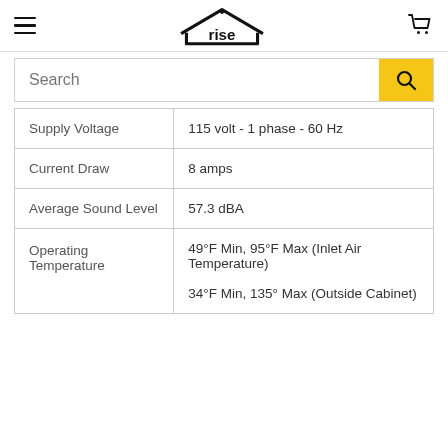rise (logo), hamburger menu, shopping cart
Search
| Specification | Value |
| --- | --- |
| Supply Voltage | 115 volt - 1 phase - 60 Hz |
| Current Draw | 8 amps |
| Average Sound Level | 57.3 dBA |
| Operating Temperature | 49°F Min, 95°F Max (Inlet Air Temperature)

34°F Min, 135° Max (Outside Cabinet) |